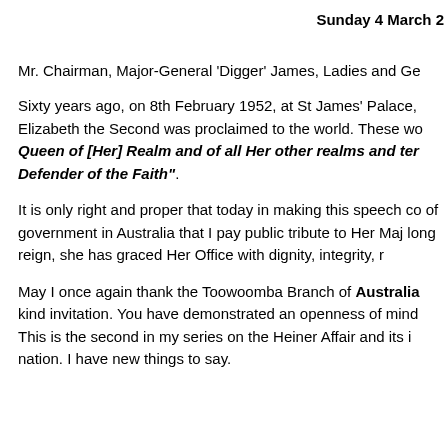Sunday 4 March 2
Mr. Chairman, Major-General 'Digger' James, Ladies and Ge
Sixty years ago, on 8th February 1952, at St James' Palace, Elizabeth the Second was proclaimed to the world. These wo Queen of [Her] Realm and of all Her other realms and ter Defender of the Faith".
It is only right and proper that today in making this speech co of government in Australia that I pay public tribute to Her Maj long reign, she has graced Her Office with dignity, integrity, r
May I once again thank the Toowoomba Branch of Australia kind invitation. You have demonstrated an openness of mind This is the second in my series on the Heiner Affair and its i nation. I have new things to say.